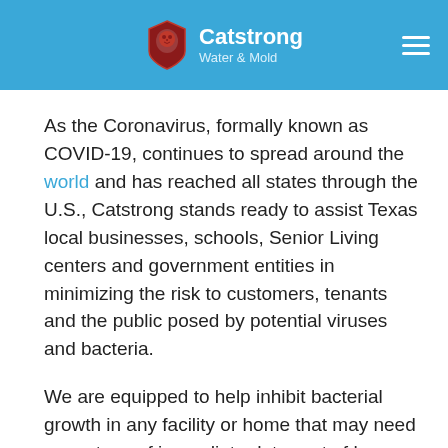Catstrong Water & Mold
As the Coronavirus, formally known as COVID-19, continues to spread around the world and has reached all states through the U.S., Catstrong stands ready to assist Texas local businesses, schools, Senior Living centers and government entities in minimizing the risk to customers, tenants and the public posed by potential viruses and bacteria.
We are equipped to help inhibit bacterial growth in any facility or home that may need some type of immediate deterrent of human and animal viruses . Understanding that this could be a very costly event we make every attempt to minimize your cost in taking on preventive measures in assisting your business or personal home with competitive pricing. If you are considering helping minimize the risk to your business and or a homeowner . Always ask for a second opinion and price before